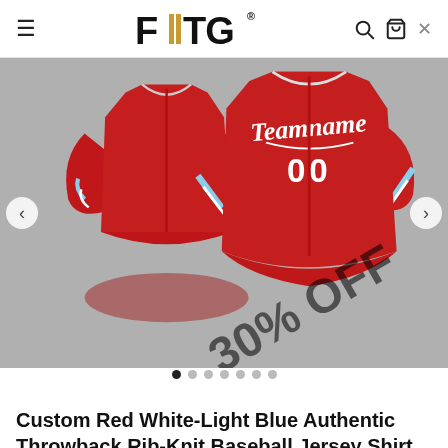FIITG (logo with hamburger menu, search, cart icons)
[Figure (photo): Red custom baseball jersey with white 'Teamname' script and number '00' on front, with light blue trim stripes on sleeves. Two views shown. A large diagonal '30% OFF' watermark text is overlaid on the jersey. Background is gray. Navigation arrows visible on sides.]
• • • • • • • (carousel dots, first dot active)
Custom Red White-Light Blue Authentic Throwback Rib-Knit Baseball Jersey Shirt